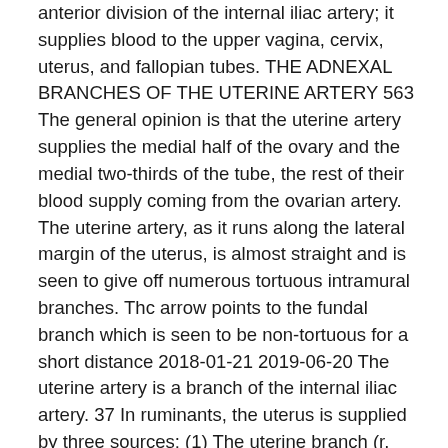anterior division of the internal iliac artery; it supplies blood to the upper vagina, cervix, uterus, and fallopian tubes. THE ADNEXAL BRANCHES OF THE UTERINE ARTERY 563 The general opinion is that the uterine artery supplies the medial half of the ovary and the medial two-thirds of the tube, the rest of their blood supply coming from the ovarian artery. The uterine artery, as it runs along the lateral margin of the uterus, is almost straight and is seen to give off numerous tortuous intramural branches. Thc arrow points to the fundal branch which is seen to be non-tortuous for a short distance 2018-01-21 2019-06-20 The uterine artery is a branch of the internal iliac artery. 37 In ruminants, the uterus is supplied by three sources: (1) The uterine branch (r. uterinus) of the ovarian artery, which may arise in the form of several